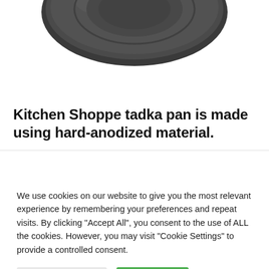[Figure (photo): Partial view of a dark gray/black hard-anodized tadka pan, showing the bottom of the pan from above against a white background]
Kitchen Shoppe tadka pan is made using hard-anodized material.
We use cookies on our website to give you the most relevant experience by remembering your preferences and repeat visits. By clicking "Accept All", you consent to the use of ALL the cookies. However, you may visit "Cookie Settings" to provide a controlled consent.